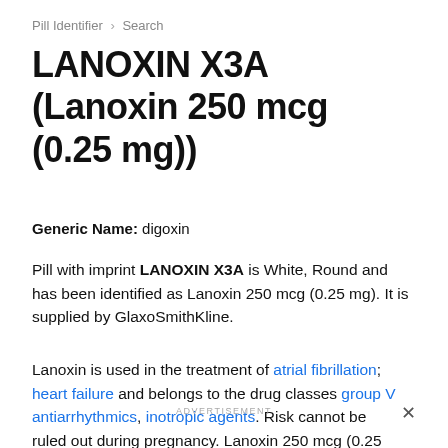Pill Identifier > Search
LANOXIN X3A (Lanoxin 250 mcg (0.25 mg))
Generic Name: digoxin
Pill with imprint LANOXIN X3A is White, Round and has been identified as Lanoxin 250 mcg (0.25 mg). It is supplied by GlaxoSmithKline.
Lanoxin is used in the treatment of atrial fibrillation; heart failure and belongs to the drug classes group V antiarrhythmics, inotropic agents. Risk cannot be ruled out during pregnancy. Lanoxin 250 mcg (0.25 mg) is
ADVERTISEMENT